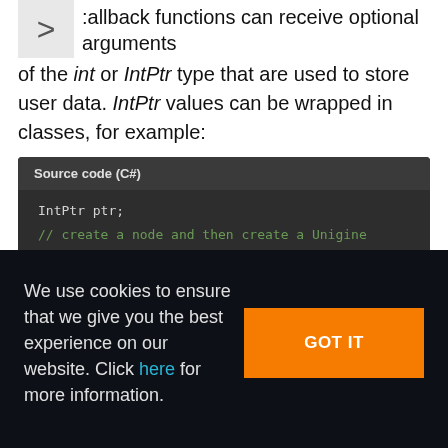...ll as with the external application. Callback functions can receive optional arguments of the int or IntPtr type that are used to store user data. IntPtr values can be wrapped in classes, for example:
[Figure (screenshot): Dark-themed code block labeled 'Source code (C#)' showing C# code: IntPtr ptr; // create a node and then create a Unigine object Unigine.Object.create(new Node(ptr));]
We use cookies to ensure that we give you the best experience on our website. Click here for more information.